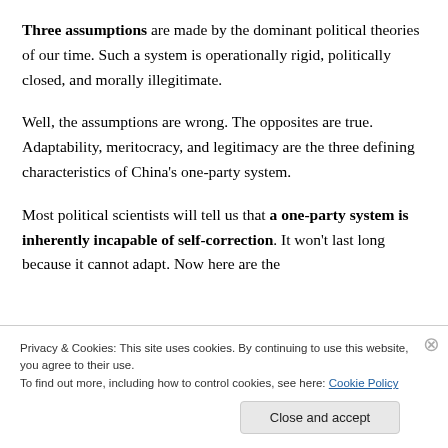Three assumptions are made by the dominant political theories of our time. Such a system is operationally rigid, politically closed, and morally illegitimate.
Well, the assumptions are wrong. The opposites are true. Adaptability, meritocracy, and legitimacy are the three defining characteristics of China's one-party system.
Most political scientists will tell us that a one-party system is inherently incapable of self-correction. It won't last long because it cannot adapt. Now here are the
Privacy & Cookies: This site uses cookies. By continuing to use this website, you agree to their use.
To find out more, including how to control cookies, see here: Cookie Policy